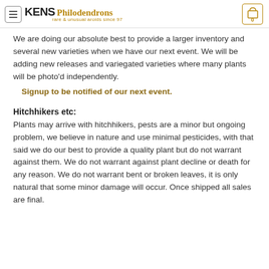KENS Philodendrons rare & unusual aroids since 97
We are doing our absolute best to provide a larger inventory and several new varieties when we have our next event. We will be adding new releases and variegated varieties where many plants will be photo'd independently.
Signup to be notified of our next event.
Hitchhikers etc:
Plants may arrive with hitchhikers, pests are a minor but ongoing problem, we believe in nature and use minimal pesticides, with that said we do our best to provide a quality plant but do not warrant against them. We do not warrant against plant decline or death for any reason. We do not warrant bent or broken leaves, it is only natural that some minor damage will occur. Once shipped all sales are final.